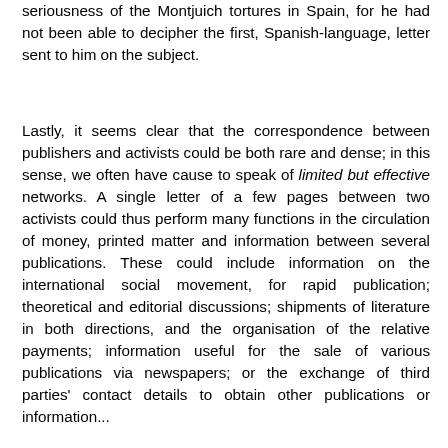seriousness of the Montjuich tortures in Spain, for he had not been able to decipher the first, Spanish-language, letter sent to him on the subject.
Lastly, it seems clear that the correspondence between publishers and activists could be both rare and dense; in this sense, we often have cause to speak of limited but effective networks. A single letter of a few pages between two activists could thus perform many functions in the circulation of money, printed matter and information between several publications. These could include information on the international social movement, for rapid publication; theoretical and editorial discussions; shipments of literature in both directions, and the organisation of the relative payments; information useful for the sale of various publications via newspapers; or the exchange of third parties' contact details to obtain other publications or information...